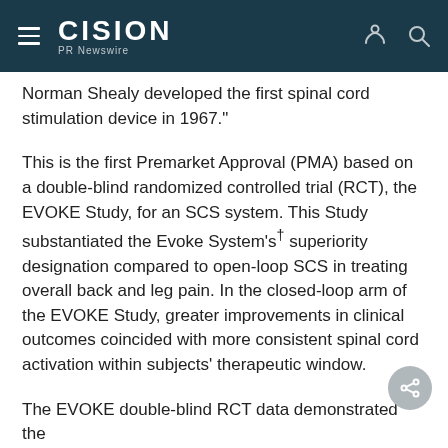CISION PR Newswire
Norman Shealy developed the first spinal cord stimulation device in 1967."
This is the first Premarket Approval (PMA) based on a double-blind randomized controlled trial (RCT), the EVOKE Study, for an SCS system. This Study substantiated the Evoke System's† superiority designation compared to open-loop SCS in treating overall back and leg pain. In the closed-loop arm of the EVOKE Study, greater improvements in clinical outcomes coincided with more consistent spinal cord activation within subjects' therapeutic window.
The EVOKE double-blind RCT data demonstrated the